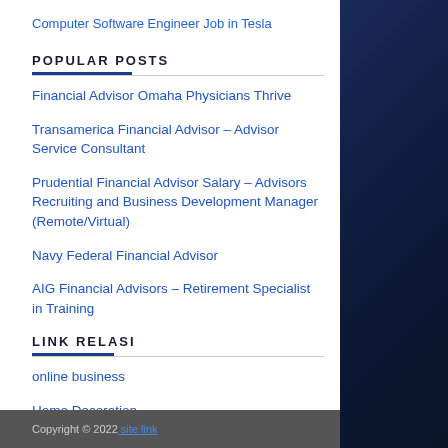Computer Software Engineer Job in Tesla
POPULAR POSTS
Financial Advisor Omaha Physicians Thrive
Transamerica Financial Advisor – Advisor Service Consultant
Prudential Financial Advisor Salary – Advisors Recruiting and Business Development Manager (Remote/Virtual)
Navy Federal Financial Advisor
AIG Financial Advisors – Retirement Specialist in Training
LINK RELASI
online business
Home Decoration
Copyright © 2022